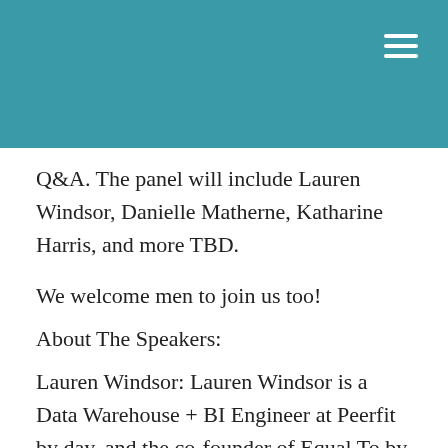Q&A. The panel will include Lauren Windsor, Danielle Matherne, Katharine Harris, and more TBD.
We welcome men to join us too!
About The Speakers:
Lauren Windsor: Lauren Windsor is a Data Warehouse + BI Engineer at Peerfit by day, and the co-founder of Equal To by nights and weekends, offering data consulting services for startups and nonprofits. A data enthusiast and